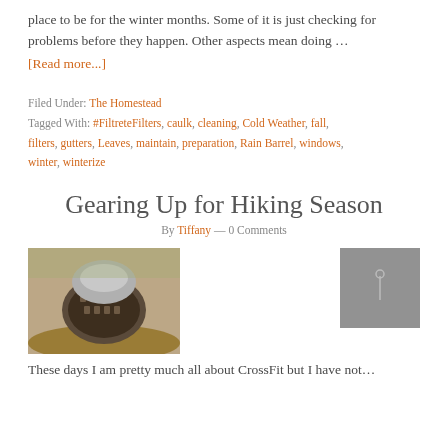place to be for the winter months. Some of it is just checking for problems before they happen. Other aspects mean doing …
[Read more...]
Filed Under: The Homestead
Tagged With: #FiltreteFilters, caulk, cleaning, Cold Weather, fall, filters, gutters, Leaves, maintain, preparation, Rain Barrel, windows, winter, winterize
Gearing Up for Hiking Season
By Tiffany — 0 Comments
[Figure (photo): Close-up photo of hiking shoe sole on a dirt trail]
[Figure (photo): Small gray thumbnail image]
These days I am pretty much all about CrossFit but I have not…